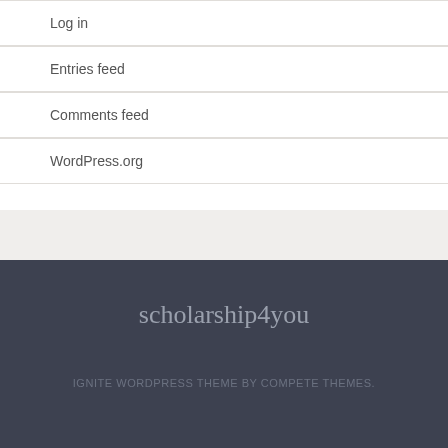Log in
Entries feed
Comments feed
WordPress.org
scholarship4you
IGNITE WORDPRESS THEME BY COMPETE THEMES.